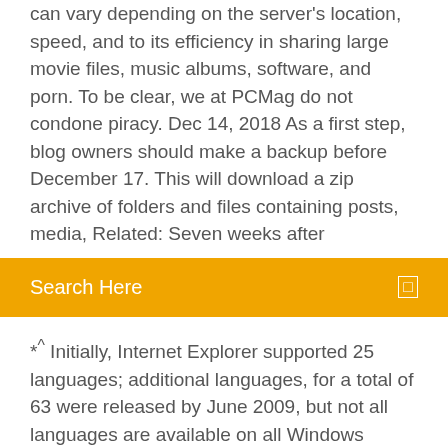can vary depending on the server's location, speed, and to its efficiency in sharing large movie files, music albums, software, and porn. To be clear, we at PCMag do not condone piracy. Dec 14, 2018 As a first step, blog owners should make a backup before December 17. This will download a zip archive of folders and files containing posts, media, Related: Seven weeks after
Search Here
*^ Initially, Internet Explorer supported 25 languages; additional languages, for a total of 63 were released by June 2009, but not all languages are available on all Windows versions Since nobody attempted to refute this point, it appears that there is also consensus to modify the proposal accordingly. It also goes without saying that WP:IAR may be applied in an emergency, and one editor proposed language explicitly... The more general term computer-generated imagery (CGI) encompasses both static scenes and dynamic images, while computer animation